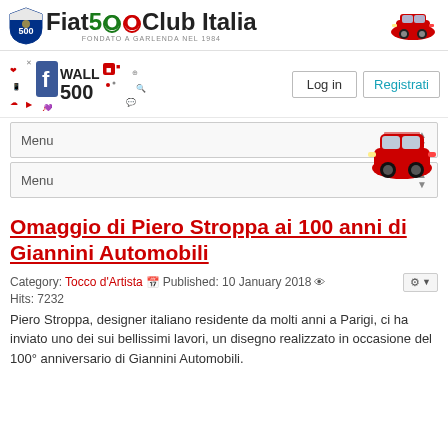[Figure (logo): Fiat 500 Club Italia logo with shield emblem and red Fiat 500 car illustration on right]
[Figure (logo): Wall 500 social media graphic with icons]
Log in
Registrati
[Figure (illustration): Red Fiat 500 car front-facing pixel/cartoon illustration]
Menu
Menu
Omaggio di Piero Stroppa ai 100 anni di Giannini Automobili
Category: Tocco d'Artista  Published: 10 January 2018  Hits: 7232
Piero Stroppa, designer italiano residente da molti anni a Parigi, ci ha inviato uno dei sui bellissimi lavori, un disegno realizzato in occasione del 100° anniversario di Giannini Automobili.